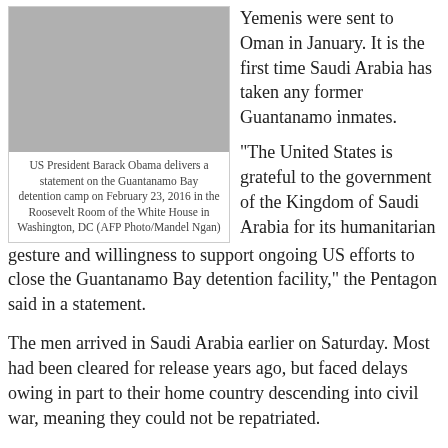[Figure (photo): US President Barack Obama speaking at a podium with microphones, gesturing with his hands, in a formal setting.]
US President Barack Obama delivers a statement on the Guantanamo Bay detention camp on February 23, 2016 in the Roosevelt Room of the White House in Washington, DC (AFP Photo/Mandel Ngan)
Yemenis were sent to Oman in January. It is the first time Saudi Arabia has taken any former Guantanamo inmates.
"The United States is grateful to the government of the Kingdom of Saudi Arabia for its humanitarian gesture and willingness to support ongoing US efforts to close the Guantanamo Bay detention facility," the Pentagon said in a statement.
The men arrived in Saudi Arabia earlier on Saturday. Most had been cleared for release years ago, but faced delays owing in part to their home country descending into civil war, meaning they could not be repatriated.
The nine inmates are: Ahmed Umar Abdullah Al-Hikimi, Abdul Rahman Mohammed Saleh Nasir, Ali Yahya Mahdi Al-Raimi, Tariq Ali Abdullah Ahmed Ba Odah, Muhammed